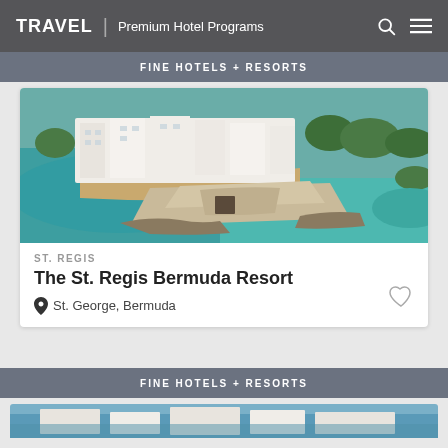TRAVEL | Premium Hotel Programs
FINE HOTELS + RESORTS
[Figure (photo): Aerial view of The St. Regis Bermuda Resort showing white hotel buildings along a sandy beach with turquoise water, historic stone fortifications in the foreground, and green landscape in the background.]
ST. REGIS
The St. Regis Bermuda Resort
St. George, Bermuda
FINE HOTELS + RESORTS
[Figure (photo): Partial aerial view of a coastal resort property.]